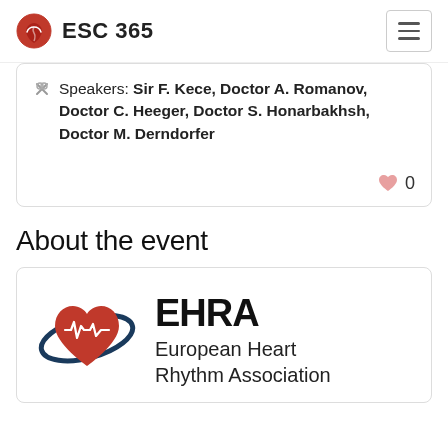ESC 365
Speakers: Sir F. Kece, Doctor A. Romanov, Doctor C. Heeger, Doctor S. Honarbakhsh, Doctor M. Derndorfer
About the event
[Figure (logo): EHRA European Heart Rhythm Association logo with red heart and ECG waveform encircled by dark blue ellipse]